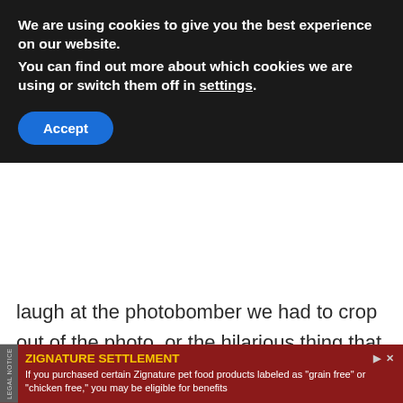We are using cookies to give you the best experience on our website.
You can find out more about which cookies we are using or switch them off in settings.
Accept
laugh at the photobomber we had to crop out of the photo, or the hilarious thing that happened while we were in that tourist spot.
What's going to solve that problem? A physical photo book. Create Google photo books by uploading your favourite photos from your phone and keeping them forever in a book that you can pull out whenever you
[Figure (other): Yellow circular back-to-top button with upward chevron arrow]
ZIGNATURE SETTLEMENT
If you purchased certain Zignature pet food products labeled as "grain free" or "chicken free," you may be eligible for benefits